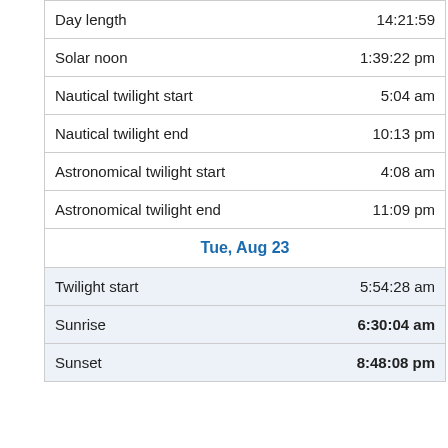|  |  |
| --- | --- |
| Day length | 14:21:59 |
| Solar noon | 1:39:22 pm |
| Nautical twilight start | 5:04 am |
| Nautical twilight end | 10:13 pm |
| Astronomical twilight start | 4:08 am |
| Astronomical twilight end | 11:09 pm |
| Tue, Aug 23 |  |
| Twilight start | 5:54:28 am |
| Sunrise | 6:30:04 am |
| Sunset | 8:48:08 pm |